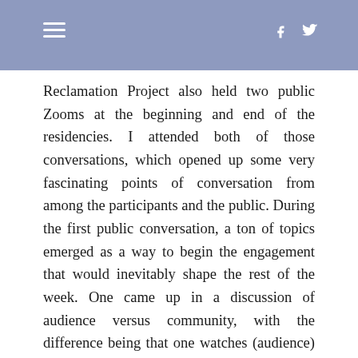navigation and social icons header
Reclamation Project also held two public Zooms at the beginning and end of the residencies. I attended both of those conversations, which opened up some very fascinating points of conversation from among the participants and the public. During the first public conversation, a ton of topics emerged as a way to begin the engagement that would inevitably shape the rest of the week. One came up in a discussion of audience versus community, with the difference being that one watches (audience) and another engages (community). This prompted the question “Is your audience your community?”
Another particularly evocative question